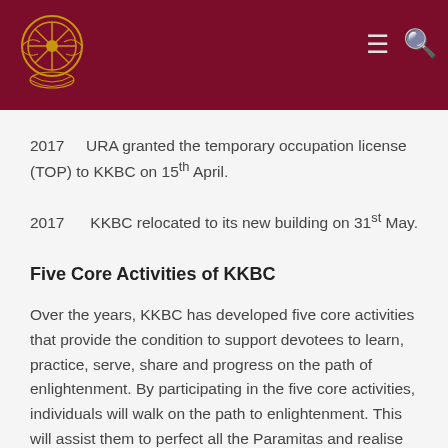[Figure (logo): Buddhist organizational logo with golden emblem on dark red/maroon header background with menu and search icons]
2017    URA granted the temporary occupation license (TOP) to KKBC on 15th April.
2017    KKBC relocated to its new building on 31st May.
Five Core Activities of KKBC
Over the years, KKBC has developed five core activities that provide the condition to support devotees to learn, practice, serve, share and progress on the path of enlightenment. By participating in the five core activities, individuals will walk on the path to enlightenment. This will assist them to perfect all the Paramitas and realise true compassion and wisdom. The five core activities